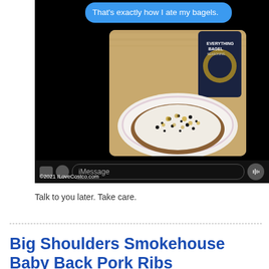[Figure (screenshot): iOS iMessage screenshot showing a blue chat bubble with text 'That's exactly how I ate my bagels.' and a photo of a bagel with cream cheese and Everything Bagel seasoning on a plate, with the iMessage input bar at the bottom. Copyright 2021 ILoveCostco.com watermark visible.]
Talk to you later. Take care.
Big Shoulders Smokehouse Baby Back Pork Ribs